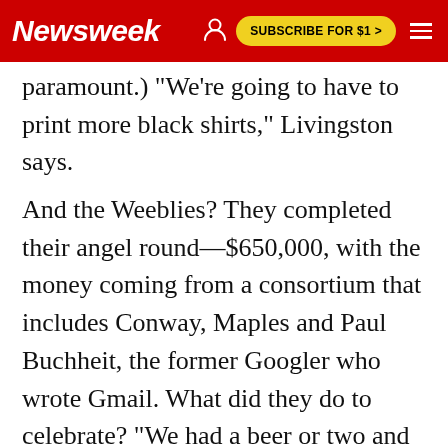Newsweek | SUBSCRIBE FOR $1 >
(paramount.) "We're going to have to print more black shirts," Livingston says.
And the Weeblies? They completed their angel round—$650,000, with the money coming from a consortium that includes Conway, Maples and Paul Buchheit, the former Googler who wrote Gmail. What did they do to celebrate? "We had a beer or two and then we went back to work," says Rusenko. This month they're returning to State College—to graduate with their class as Silicon Valley heroes.